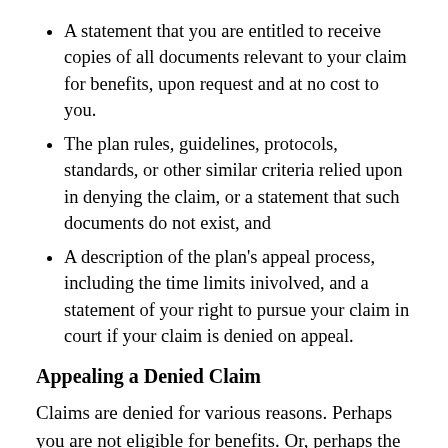A statement that you are entitled to receive copies of all documents relevant to your claim for benefits, upon request and at no cost to you.
The plan rules, guidelines, protocols, standards, or other similar criteria relied upon in denying the claim, or a statement that such documents do not exist, and
A description of the plan's appeal process, including the time limits inivolved, and a statement of your right to pursue your claim in court if your claim is denied on appeal.
Appealing a Denied Claim
Claims are denied for various reasons. Perhaps you are not eligible for benefits. Or, perhaps the plan simply needs more information about your claim. Whatever the reason, you have at lteast 180 days to file an appeal (check your Summary Plan Description or claims procedure to see if your plan provides a longer period). Use the information in your claim denial